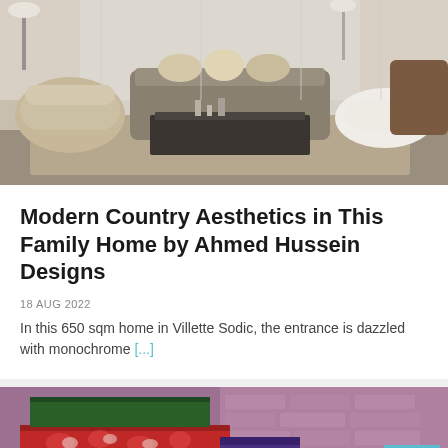[Figure (photo): Interior photo of a modern living room with beige curved armchair, tufted gray sofa, dark marble coffee table, fluffy white side seating, and floor-to-ceiling sheer curtains]
Modern Country Aesthetics in This Family Home by Ahmed Hussein Designs
18 AUG 2022
In this 650 sqm home in Villette Sodic, the entrance is dazzled with monochrome [...]
[Figure (photo): Close-up photo of vintage stacked trunks/suitcases with red floral patterned fabric and green metal edges, against a purple/pink brick wall]